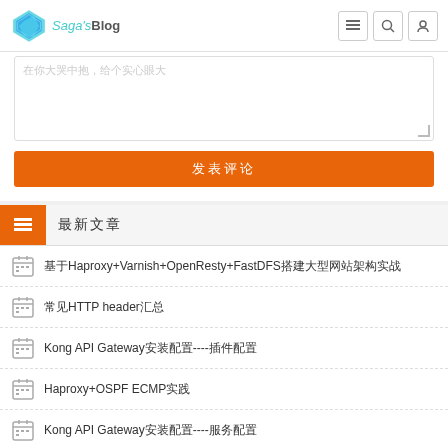Saga's Blog
[Comment text area with placeholder]
发表评论
最新文章
基于Haproxy+Varnish+OpenResty+FastDFS搭建大型网站架构实战
常见HTTP header汇总
Kong API Gateway安装配置----插件配置
Haproxy+OSPF ECMP实践
Kong API Gateway安装配置----服务配置
Kong API Gateway安装配置----路由
Kong API Gateway安装配置----路由